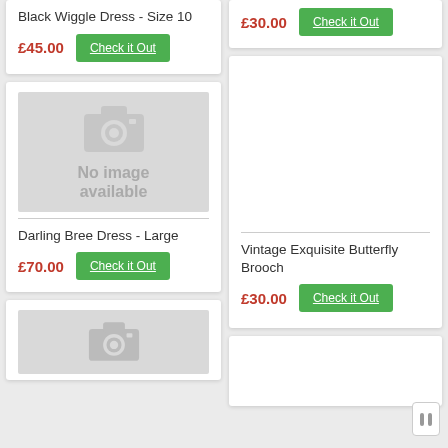Black Wiggle Dress - Size 10
£45.00
Check it Out
[Figure (other): No image available placeholder with camera icon]
Darling Bree Dress - Large
£70.00
Check it Out
£30.00
Check it Out
Vintage Exquisite Butterfly Brooch
£30.00
Check it Out
[Figure (other): Partial camera placeholder image at bottom left]